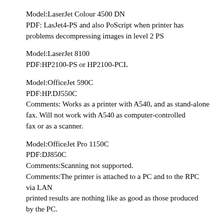Model:LaserJet Colour 4500 DN
PDF: LasJet4-PS and also PoScript when printer has problems decompressing images in level 2 PS
Model:LaserJet 8100
PDF:HP2100-PS or HP2100-PCL
Model:OfficeJet 590C
PDF:HP.DJ550C
Comments: Works as a printer with A540, and as stand-alone fax. Will not work with A540 as computer-controlled fax or as a scanner.
Model:OfficeJet Pro 1150C
PDF:DJ850C
Comments:Scanning not supported.
Comments:The printer is attached to a PC and to the RPC via LAN printed results are nothing like as good as those produced by the PC.
Manufacturer : IBM (Lexmark)
Model:4072
PDF:BJ-300